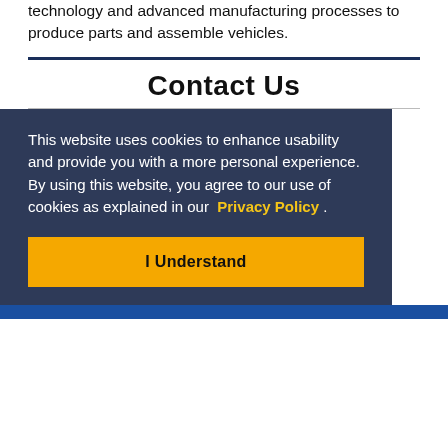technology and advanced manufacturing processes to produce parts and assemble vehicles.
Contact Us
This website uses cookies to enhance usability and provide you with a more personal experience. By using this website, you agree to our use of cookies as explained in our Privacy Policy .
I Understand